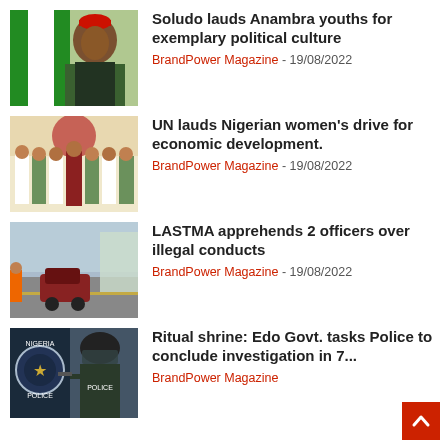[Figure (photo): Photo of a man wearing a red cap and suit, with Nigerian flag in background]
Soludo lauds Anambra youths for exemplary political culture
BrandPower Magazine - 19/08/2022
[Figure (photo): Group photo of people in traditional and formal attire]
UN lauds Nigerian women’s drive for economic development.
BrandPower Magazine - 19/08/2022
[Figure (photo): People standing near a car on a road, traffic enforcement scene]
LASTMA apprehends 2 officers over illegal conducts
BrandPower Magazine - 19/08/2022
[Figure (photo): Nigeria Police logo and armed police officer in gear]
Ritual shrine: Edo Govt. tasks Police to conclude investigation in 7...
BrandPower Magazine